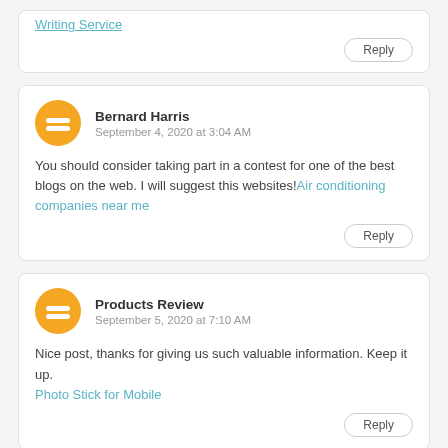Writing Service
Reply
Bernard Harris
September 4, 2020 at 3:04 AM
You should consider taking part in a contest for one of the best blogs on the web. I will suggest this websites!Air conditioning companies near me
Reply
Products Review
September 5, 2020 at 7:10 AM
Nice post, thanks for giving us such valuable information. Keep it up.
Photo Stick for Mobile
Reply